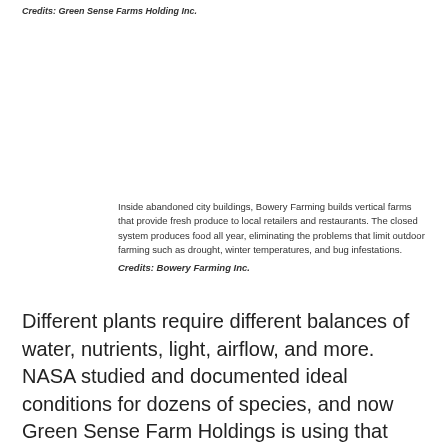Credits: Green Sense Farms Holding Inc.
Inside abandoned city buildings, Bowery Farming builds vertical farms that provide fresh produce to local retailers and restaurants. The closed system produces food all year, eliminating the problems that limit outdoor farming such as drought, winter temperatures, and bug infestations. Credits: Bowery Farming Inc.
Different plants require different balances of water, nutrients, light, airflow, and more. NASA studied and documented ideal conditions for dozens of species, and now Green Sense Farm Holdings is using that research on Earth.